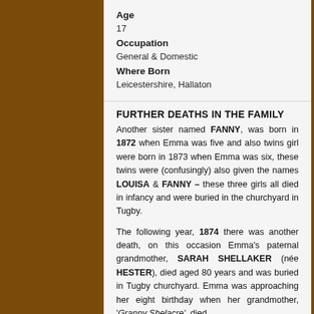Age
17
Occupation
General & Domestic
Where Born
Leicestershire, Hallaton
FURTHER DEATHS IN THE FAMILY
Another sister named FANNY, was born in 1872 when Emma was five and also twins girl were born in 1873 when Emma was six, these twins were (confusingly) also given the names LOUISA & FANNY – these three girls all died in infancy and were buried in the churchyard in Tugby.
The following year, 1874 there was another death, on this occasion Emma's paternal grandmother, SARAH SHELLAKER (née HESTER), died aged 80 years and was buried in Tugby churchyard. Emma was approaching her eight birthday when her grandmother, 'Granny Shelacre', died.